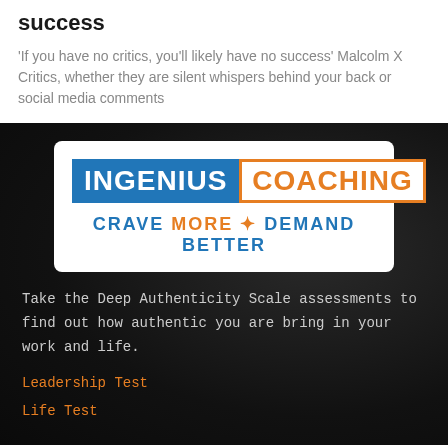success
'If you have no critics, you'll likely have no success' Malcolm X Critics, whether they are silent whispers behind your back or social media comments
[Figure (logo): Ingenius Coaching logo with tagline CRAVE MORE + DEMAND BETTER. INGENIUS in white on blue background, COACHING in orange with orange border on white background.]
Take the Deep Authenticity Scale assessments to find out how authentic you are bring in your work and life.
Leadership Test
Life Test